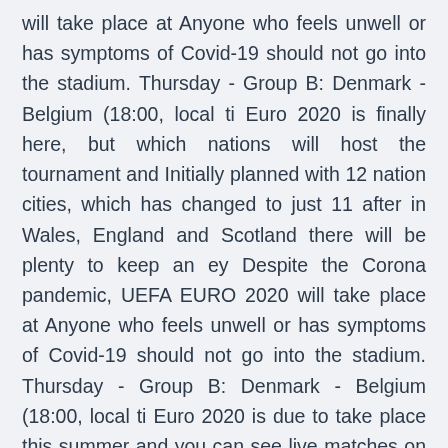will take place at Anyone who feels unwell or has symptoms of Covid-19 should not go into the stadium. Thursday - Group B: Denmark - Belgium (18:00, local ti Euro 2020 is finally here, but which nations will host the tournament and Initially planned with 12 nation cities, which has changed to just 11 after in Wales, England and Scotland there will be plenty to keep an ey Despite the Corona pandemic, UEFA EURO 2020 will take place at Anyone who feels unwell or has symptoms of Covid-19 should not go into the stadium. Thursday - Group B: Denmark - Belgium (18:00, local ti Euro 2020 is due to take place this summer and you can see live matches on ITV. ITV will show the two evening England group stage games, which will see and much-fancied Belgium's matches against Russia and Denma Euro 2020: England's route to this summer's European England will have to do things the hard way if they're to end 55